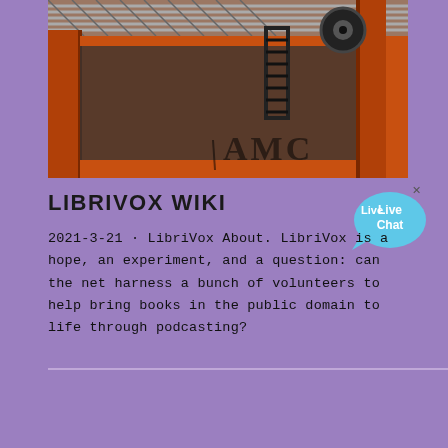[Figure (photo): Orange industrial machine (jaw crusher or vibrating screen) with AMC logo watermark, metal grating visible at top]
LIBRIVOX WIKI
[Figure (illustration): Live Chat bubble icon in cyan/blue with 'Live Chat' text and an x close button]
2021-3-21 · LibriVox About. LibriVox is a hope, an experiment, and a question: can the net harness a bunch of volunteers to help bring books in the public domain to life through podcasting?
[Figure (photo): Red and white industrial cone crusher machine with AMC branding, partially visible]
[Figure (illustration): House/building emoji icon (red door, brown roof)]